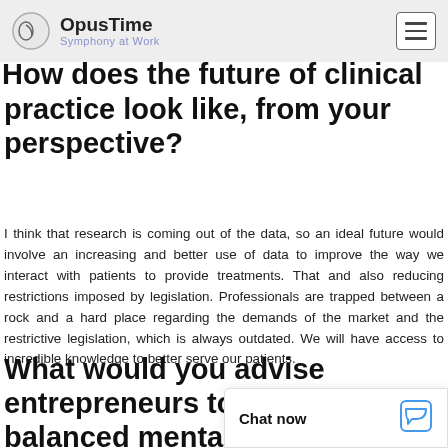OpusTime — Symphony at Work
practice look like, from your perspective?
I think that research is coming out of the data, so an ideal future would involve an increasing and better use of data to improve the way we interact with patients to provide treatments. That and also reducing restrictions imposed by legislation. Professionals are trapped between a rock and a hard place regarding the demands of the market and the restrictive legislation, which is always outdated. We will have access to incredible knowledge to better serve our patients.
What would you advise entrepreneurs to achieve balanced mental and physical health?